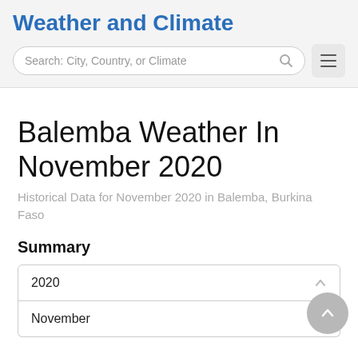Weather and Climate
Search: City, Country, or Climate
Balemba Weather In November 2020
Historical Data for November 2020 in Balemba, Burkina Faso
Summary
2020
November